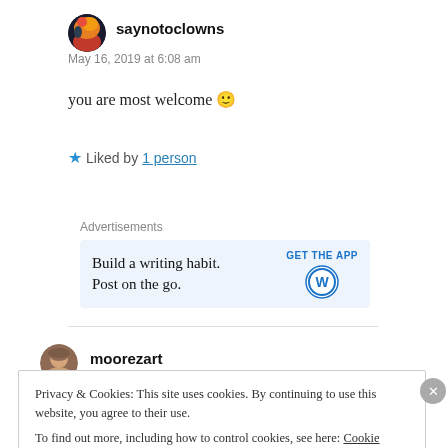[Figure (photo): Avatar image for user saynotoclowns - circular avatar with orange/red sunset colors]
saynotoclowns
May 16, 2019 at 6:08 am
you are most welcome 🙂
★ Liked by 1 person
Advertisements
[Figure (screenshot): WordPress app advertisement: 'Build a writing habit. Post on the go.' with GET THE APP button and WordPress logo]
[Figure (photo): Avatar image for user moorezart - circular avatar showing a person]
moorezart
Privacy & Cookies: This site uses cookies. By continuing to use this website, you agree to their use.
To find out more, including how to control cookies, see here: Cookie Policy
Close and accept